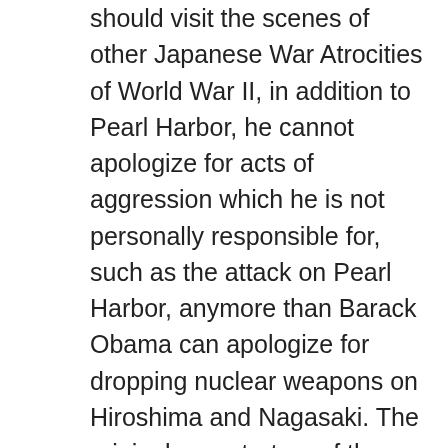should visit the scenes of other Japanese War Atrocities of World War II, in addition to Pearl Harbor, he cannot apologize for acts of aggression which he is not personally responsible for, such as the attack on Pearl Harbor, anymore than Barack Obama can apologize for dropping nuclear weapons on Hiroshima and Nagasaki. The original perpetrators of these actions are long dead. Our primary focus should not be on casting blame for 70 plus year old events, but most importantly, now ensuring that they are not repeated in the future. In that respect, Japan has not engaged in further acts of aggression and the U.S. has not used nuclear weapons in war. The question should be, ho can we encourage those trends to continue.